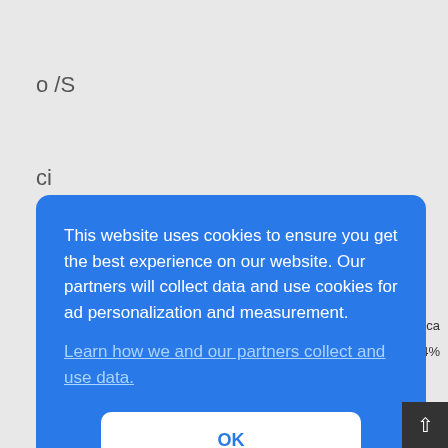o /S
ci
al
Im
This website uses cookies to ensure you get the best experience on our website. Our partners will collect data and use cookies for ad personalization and measurement. Learn how we and our partners collect and use data.
OK
ca
% 4%
Netherlands 4% United Kingdom 48% Other  7%